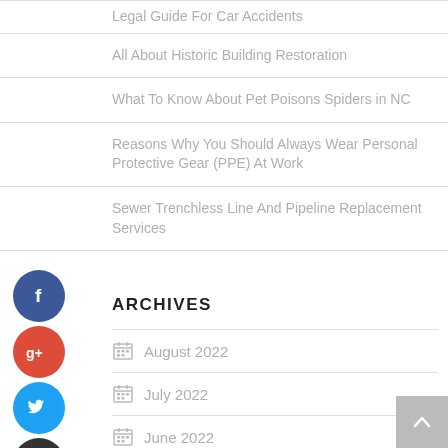Legal Guide For Car Accidents
All About Historic Building Restoration
What To Know About Pet Poisons Spiders in NC
Reasons Why You Should Always Wear Personal Protective Gear (PPE) At Work
Sewer Trenchless Line And Pipeline Replacement Services
ARCHIVES
August 2022
July 2022
June 2022
May 2022